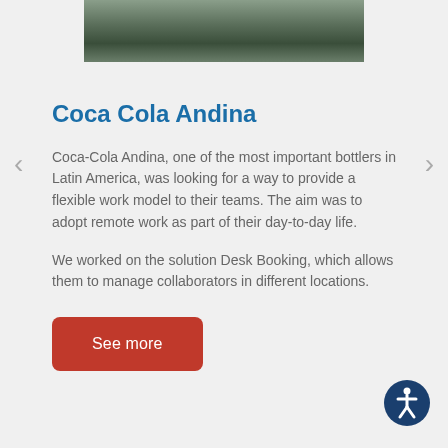[Figure (photo): Partial photo of an outdoor area with green plants and concrete/building structure, cropped at the top of the page]
Coca Cola Andina
Coca-Cola Andina, one of the most important bottlers in Latin America, was looking for a way to provide a flexible work model to their teams. The aim was to adopt remote work as part of their day-to-day life.
We worked on the solution Desk Booking, which allows them to manage collaborators in different locations.
See more